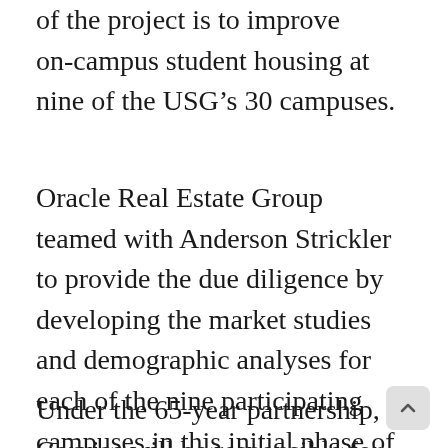of the project is to improve on-campus student housing at nine of the USG's 30 campuses.
Oracle Real Estate Group teamed with Anderson Strickler to provide the due diligence by developing the market studies and demographic analyses for each of the nine participating campuses in this initial phase of the project.
Under the 65-year partnership, Corvias will be responsible for the development, construction, management and long-term maintenance of 3,753 new beds